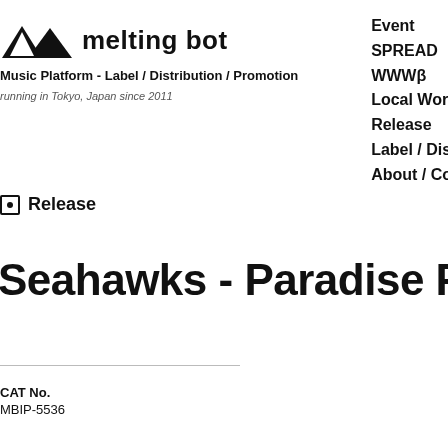[Figure (logo): Melting bot logo: two mountain/triangle shapes in black followed by the text 'melting bot' in bold]
Music Platform - Label / Distribution / Promotion
running in Tokyo, Japan since 2011
Event
SPREAD
WWWβ
Local World
Release
Label / Distro
About / Conta
Release
Seahawks - Paradise Freaks
CAT No.
MBIP-5536